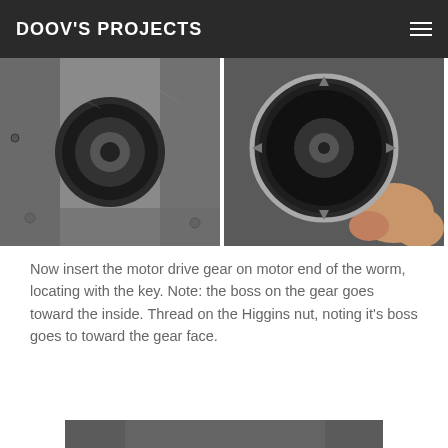DOOV'S PROJECTS
[Figure (photo): Two side-by-side photos showing mechanical gear/worm assembly components in metal housing]
Now insert the motor drive gear on motor end of the worm, locating with the key. Note: the boss on the gear goes toward the inside. Thread on the Higgins nut, noting it's boss goes to toward the gear face.
[Figure (photo): Close-up photo of motor drive gear and Higgins nut installed on worm inside metal gearbox housing]